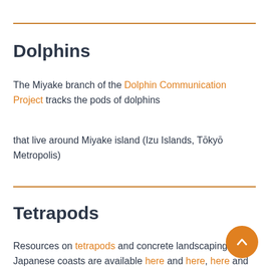Dolphins
The Miyake branch of the Dolphin Communication Project tracks the pods of dolphins
that live around Miyake island (Izu Islands, Tōkyō Metropolis)
Tetrapods
Resources on tetrapods and concrete landscaping Japanese coasts are available here and here, here and